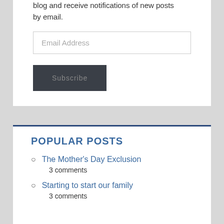blog and receive notifications of new posts by email.
Email Address
Subscribe
POPULAR POSTS
The Mother's Day Exclusion
3 comments
Starting to start our family
3 comments